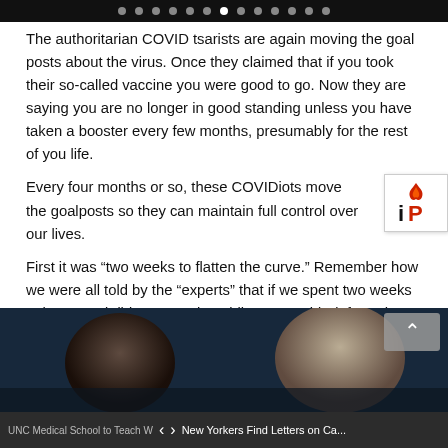navigation dots / top bar
The authoritarian COVID tsarists are again moving the goal posts about the virus. Once they claimed that if you took their so-called vaccine you were good to go. Now they are saying you are no longer in good standing unless you have taken a booster every few months, presumably for the rest of you life.
Every four months or so, these COVIDiots move the goalposts so they can maintain full control over our lives.
[Figure (logo): iP logo — flame icon above letters 'iP' in red and dark colors on white background]
First it was “two weeks to flatten the curve.” Remember how we were all told by the “experts” that if we spent two weeks at home and didn’t go out in public, we would “defeat” the coronavirus by starving it of victims.
[Figure (photo): Dark photo showing people, partially visible faces against dark blue background]
UNC Medical School to Teach Wok... ‹ › New Yorkers Find Letters on Ca...